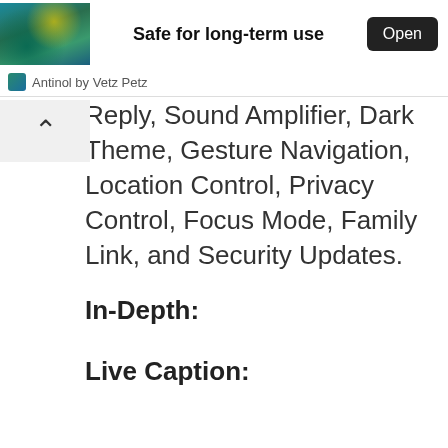[Figure (screenshot): Ad banner showing underwater/reef image on the left, bold text 'Safe for long-term use' in center, and black 'Open' button on right]
Antinol by Vetz Petz
Reply, Sound Amplifier, Dark Theme, Gesture Navigation, Location Control, Privacy Control, Focus Mode, Family Link, and Security Updates.
In-Depth:
Live Caption:
These feature automatically caption